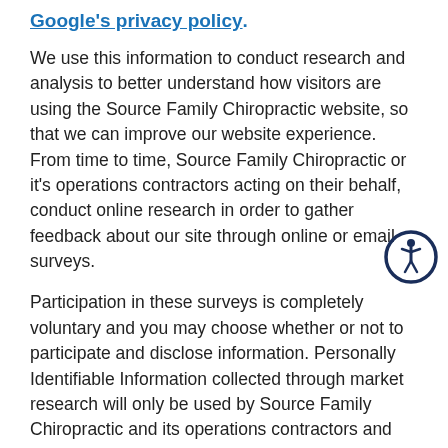Google's privacy policy.
We use this information to conduct research and analysis to better understand how visitors are using the Source Family Chiropractic website, so that we can improve our website experience. From time to time, Source Family Chiropractic or it's operations contractors acting on their behalf, conduct online research in order to gather feedback about our site through online or email surveys.
[Figure (illustration): Circular accessibility icon — dark navy circle outline with a white stylized person figure in a wheelchair-like accessibility symbol pose in the center]
Participation in these surveys is completely voluntary and you may choose whether or not to participate and disclose information. Personally Identifiable Information collected through market research will only be used by Source Family Chiropractic and its operations contractors and will never be given or sold to a third party.